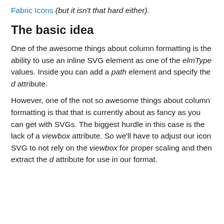Fabric Icons (but it isn't that hard either).
The basic idea
One of the awesome things about column formatting is the ability to use an inline SVG element as one of the elmType values. Inside you can add a path element and specify the d attribute.
However, one of the not so awesome things about column formatting is that that is currently about as fancy as you can get with SVGs. The biggest hurdle in this case is the lack of a viewbox attribute. So we'll have to adjust our icon SVG to not rely on the viewbox for proper scaling and then extract the d attribute for use in our format.